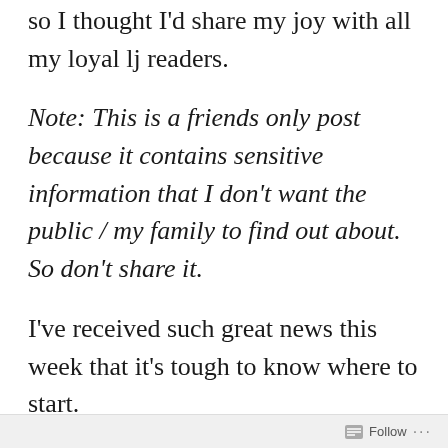so I thought I'd share my joy with all my loyal lj readers.
Note: This is a friends only post because it contains sensitive information that I don't want the public / my family to find out about. So don't share it.
I've received such great news this week that it's tough to know where to start.
First of all, I found out last night that I've been offered jobs for both positions at Microsoft that I interviewed for. Yippee! I had 2 days to decide
Follow